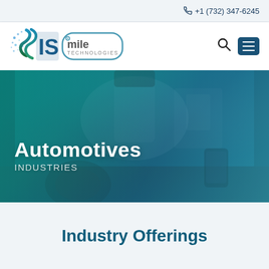+1 (732) 347-6245
[Figure (logo): SISmile Technologies logo with circular arrow design and tech dot motif]
[Figure (photo): Hero banner showing car interior dashboard view with teal/blue overlay, showing Automotives Industries heading]
Automotives
INDUSTRIES
Industry Offerings